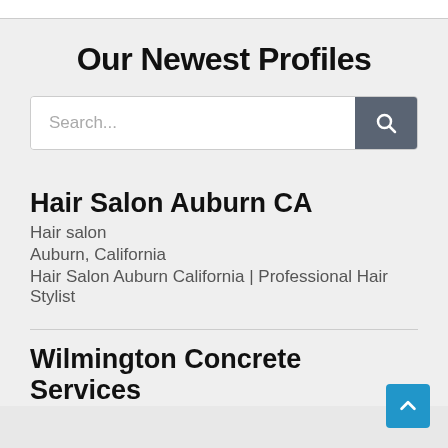Our Newest Profiles
[Figure (screenshot): Search bar with text input field showing placeholder 'Search...' and a dark gray search button with magnifying glass icon]
Hair Salon Auburn CA
Hair salon
Auburn, California
Hair Salon Auburn California | Professional Hair Stylist
Wilmington Concrete Services